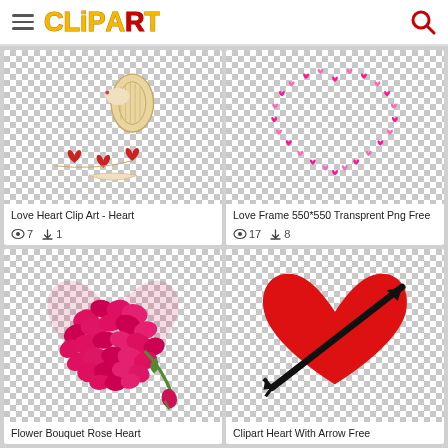ClipArtMax
[Figure (illustration): Love Heart Clip Art - bird with harp and red hearts on transparent checkered background]
Love Heart Clip Art - Heart
👁 7  ⬇ 1
[Figure (illustration): Love Frame 550*550 - heart shape made of small pink and magenta hearts on transparent checkered background]
Love Frame 550*550 Transprent Png Free
👁 17  ⬇ 8
[Figure (illustration): Flower Bouquet Rose Heart - heart shape made of rose petals with a rose stem on transparent checkered background]
Flower Bouquet Rose Heart
[Figure (illustration): Clipart Heart With Arrow Free - red heart with black arrow through it on transparent checkered background]
Clipart Heart With Arrow Free